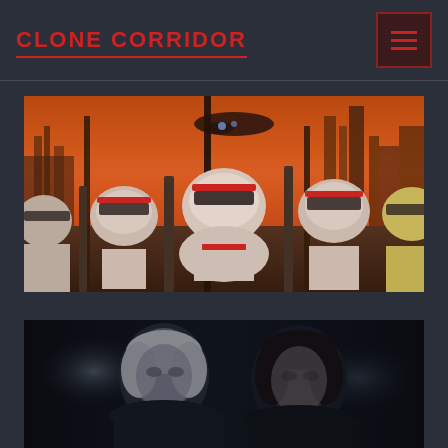CLONE CORRIDOR
[Figure (photo): Animated clone troopers marching in formation against an orange/red sky with a city and flying ship in the background — from Star Wars: The Clone Wars]
[Figure (photo): Dark cinematic scene showing two figures — one with white/silver hair and one with dark hair — in low lighting, likely from a Star Wars film]